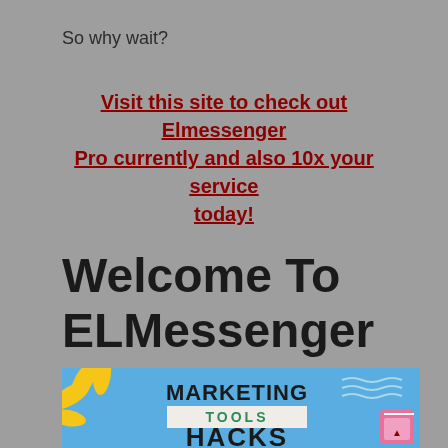So why wait?
Visit this site to check out Elmessenger Pro currently and also 10x your service today!
Welcome To ELMessenger Pro
[Figure (illustration): Marketing Tools Hacks promotional banner with blue background, yellow sun rays on the left, wavy lines top right, pink calendar icon bottom right, bold black text MARKETING, teal text TOOLS on white banner, and large black text HACKS at bottom.]